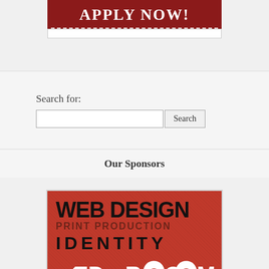[Figure (illustration): Red banner with 'APPLY NOW!' text in white bold capital letters, with dashed white border line below on dark red background, and white bottom strip.]
Search for:
[Figure (other): Search input field with Search button]
Our Sponsors
[Figure (logo): Red Room advertising banner on red textured background showing: WEB DESIGN in large black bold text, PRINT PRODUCTION in dark red spaced text, IDENTITY in black bold spaced text, and RED ROOM logo in white text at bottom.]